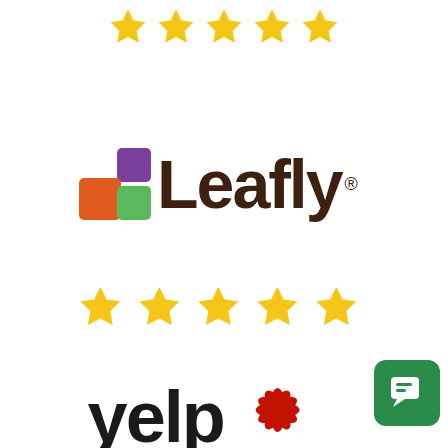[Figure (illustration): 5 gold/yellow star rating icons in a row at the top of the page]
[Figure (logo): Leafly logo with colored square icons (purple, orange, green) and dark brown bold text 'Leafly' with registered trademark symbol]
[Figure (illustration): 5 gold/yellow star rating icons in a row in the middle of the page]
[Figure (logo): Partial Yelp logo at the bottom center, showing 'yel' text and red burst/flower icon]
[Figure (illustration): Green rounded square chat widget icon in the bottom right corner]